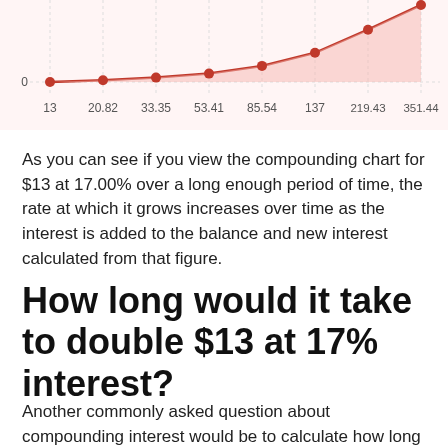[Figure (line-chart): Compounding chart for $13 at 17.00%]
As you can see if you view the compounding chart for $13 at 17.00% over a long enough period of time, the rate at which it grows increases over time as the interest is added to the balance and new interest calculated from that figure.
How long would it take to double $13 at 17% interest?
Another commonly asked question about compounding interest would be to calculate how long it would take to double your investment of